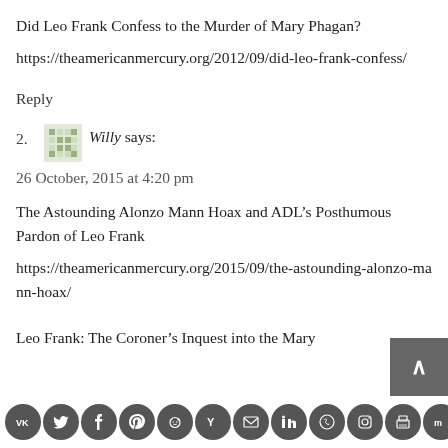Did Leo Frank Confess to the Murder of Mary Phagan?
https://theamericanmercury.org/2012/09/did-leo-frank-confess/
Reply
2. Willy says:
26 October, 2015 at 4:20 pm
The Astounding Alonzo Mann Hoax and ADL’s Posthumous Pardon of Leo Frank
https://theamericanmercury.org/2015/09/the-astounding-alonzo-mann-hoax/
Leo Frank: The Coroner’s Inquest into the Mary